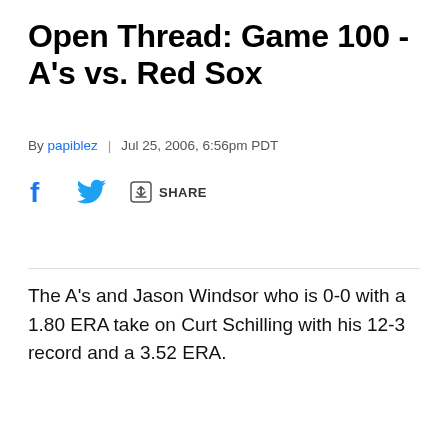Open Thread: Game 100 - A's vs. Red Sox
By papiblez | Jul 25, 2006, 6:56pm PDT
The A's and Jason Windsor who is 0-0 with a 1.80 ERA take on Curt Schilling with his 12-3 record and a 3.52 ERA.